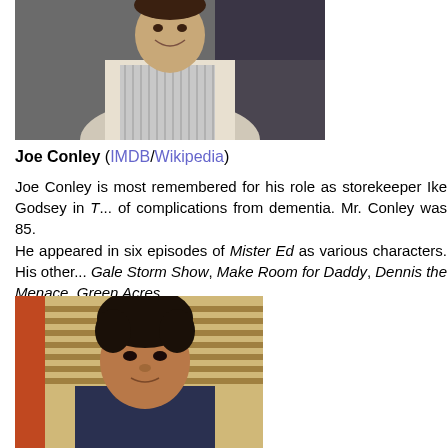[Figure (photo): Man in white shirt with striped apron and bow tie, smiling, standing in what appears to be a store setting]
Joe Conley (IMDB/Wikipedia)
Joe Conley is most remembered for his role as storekeeper Ike Godsey in T... of complications from dementia. Mr. Conley was 85.
He appeared in six episodes of Mister Ed as various characters. His other... Gale Storm Show, Make Room for Daddy, Dennis the Menace, Green Acres...
[Figure (photo): Man with dark curly hair wearing a dark shirt and patterned scarf/neckerchief, seated, with blinds visible in background]